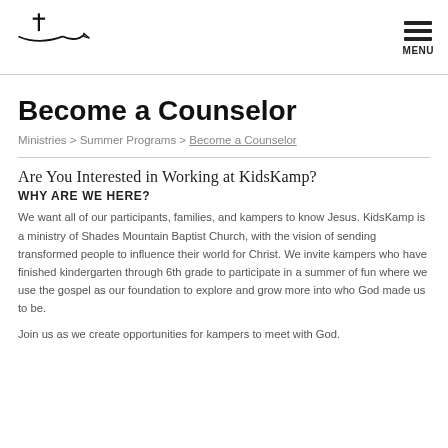[Logo] MENU
Become a Counselor
Ministries > Summer Programs > Become a Counselor
Are You Interested in Working at KidsKamp?
WHY ARE WE HERE?
We want all of our participants, families, and kampers to know Jesus. KidsKamp is a ministry of Shades Mountain Baptist Church, with the vision of sending transformed people to influence their world for Christ. We invite kampers who have finished kindergarten through 6th grade to participate in a summer of fun where we use the gospel as our foundation to explore and grow more into who God made us to be.
Join us as we create opportunities for kampers to meet with God.